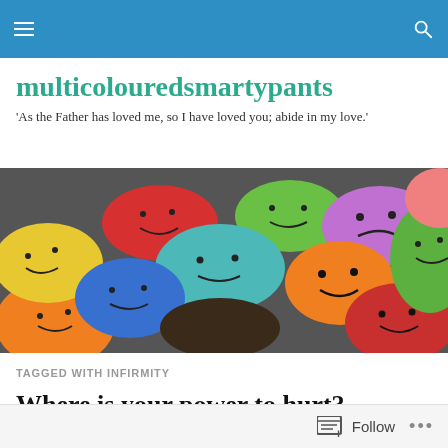multicolouredsmartypants — site header bar with navigation
multicolouredsmartypants
'As the Father has loved me, so I have loved you; abide in my love.'
[Figure (photo): Colorful pebbles/stones with smiley faces and emotion faces drawn on them, arranged in a pile.]
TAGGED WITH INFIRMITY
Where is your power to hurt?
Follow •••